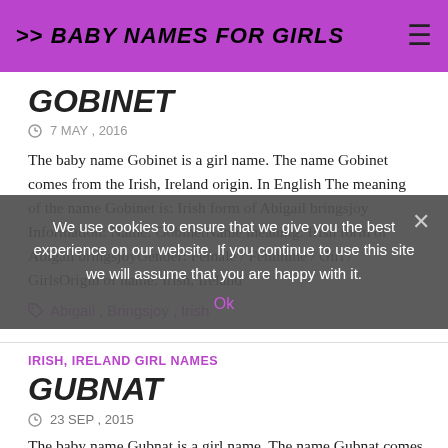>> BABY NAMES FOR GIRLS
GOBINET
7 MAY , 2016
The baby name Gobinet is a girl name. The name Gobinet comes from the Irish, Ireland origin. In English The meaning of the name Gobinet is: Irish form of Abigail bringsjoy Information: Name: GobinetName meaning: Irish form of Abigail bringsjoyGender: Female / Feminine / Girl / GirlsOrigin of name: Irish, Ireland
Abigail, Bringsjoy, Irish
IRISH, IRELAND GIRL NAMES
GUBNAT
23 SEP , 2015
The baby name Gubnat is a girl name. The name Gubnat comes
We use cookies to ensure that we give you the best experience on our website. If you continue to use this site we will assume that you are happy with it. Ok